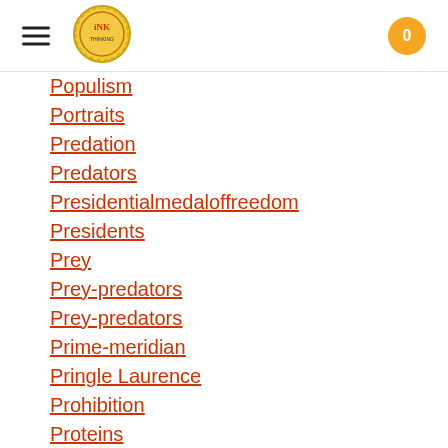INK logo | hamburger menu | cart 0
Populism
Portraits
Predation
Predators
Presidentialmedaloffreedom
Presidents
Prey
Prey-predators
Prey-predators
Prime-meridian
Pringle Laurence
Prohibition
Proteins
Protestandsocialmovements
Protestants